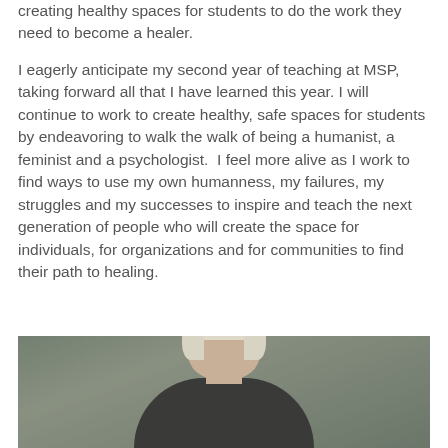creating healthy spaces for students to do the work they need to become a healer.
I eagerly anticipate my second year of teaching at MSP, taking forward all that I have learned this year. I will continue to work to create healthy, safe spaces for students by endeavoring to walk the walk of being a humanist, a feminist and a psychologist.  I feel more alive as I work to find ways to use my own humanness, my failures, my struggles and my successes to inspire and teach the next generation of people who will create the space for individuals, for organizations and for communities to find their path to healing.
[Figure (photo): Partial photo of a person with light/blonde hair, viewed from roughly chest up, against a blurred outdoor background.]